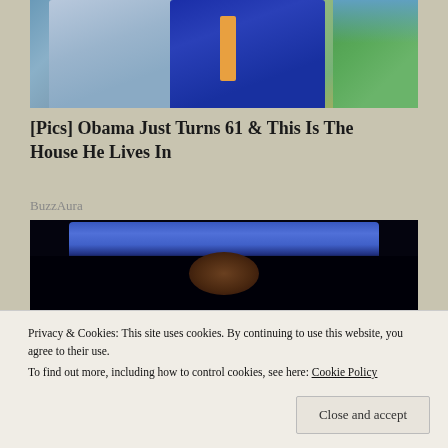[Figure (photo): Photo of two people outdoors, one in a light blue checkered shirt and one in a blue dress, with green trees in background]
[Pics] Obama Just Turns 61 & This Is The House He Lives In
BuzzAura
[Figure (photo): Photo of a basketball player under arena lighting with blue scoreboard visible in background]
Privacy & Cookies: This site uses cookies. By continuing to use this website, you agree to their use.
To find out more, including how to control cookies, see here: Cookie Policy
Close and accept